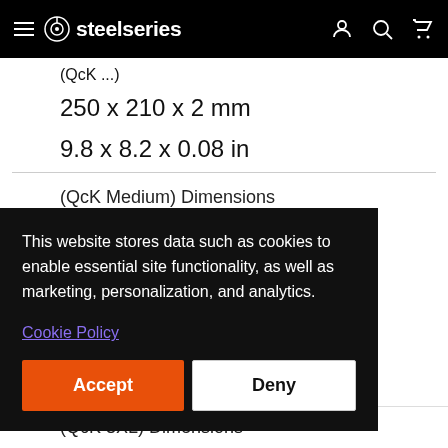steelseries
250 x 210 x 2 mm
9.8 x 8.2 x 0.08 in
(QcK Medium) Dimensions
This website stores data such as cookies to enable essential site functionality, as well as marketing, personalization, and analytics.
Cookie Policy
Accept
Deny
(QcK 3XL) Dimensions